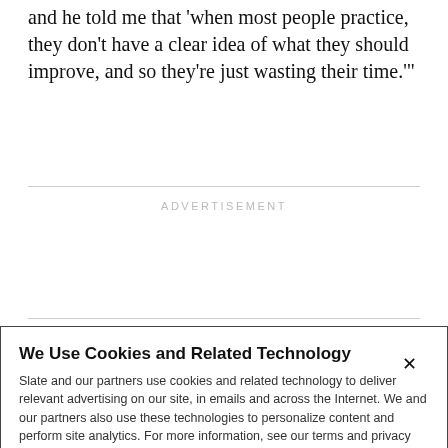and he told me that 'when most people practice, they don't have a clear idea of what they should improve, and so they're just wasting their time.'
ADVERTISEMENT
When it came to hoops, better forms of practice¾and
We Use Cookies and Related Technology
Slate and our partners use cookies and related technology to deliver relevant advertising on our site, in emails and across the Internet. We and our partners also use these technologies to personalize content and perform site analytics. For more information, see our terms and privacy policy. Privacy Policy
OK